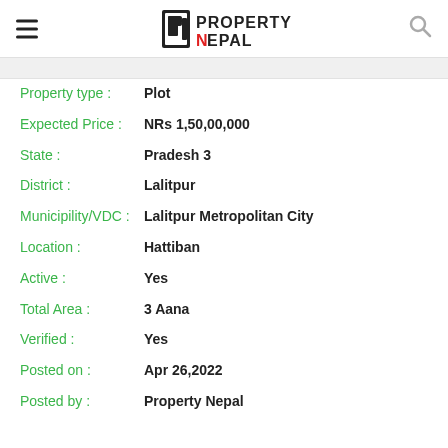Property Nepal
Property type : Plot
Expected Price : NRs 1,50,00,000
State : Pradesh 3
District : Lalitpur
Municipility/VDC : Lalitpur Metropolitan City
Location : Hattiban
Active : Yes
Total Area : 3 Aana
Verified : Yes
Posted on : Apr 26,2022
Posted by : Property Nepal